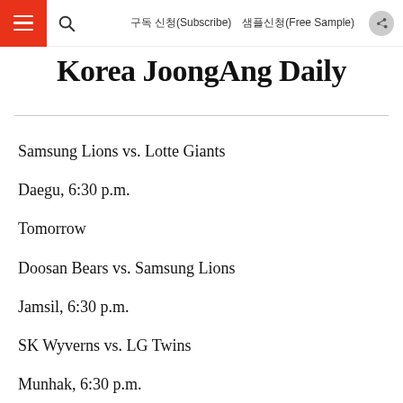구독 신청(Subscribe)  샘플신청(Free Sample)
Korea JoongAng Daily
Samsung Lions vs. Lotte Giants
Daegu, 6:30 p.m.
Tomorrow
Doosan Bears vs. Samsung Lions
Jamsil, 6:30 p.m.
SK Wyverns vs. LG Twins
Munhak, 6:30 p.m.